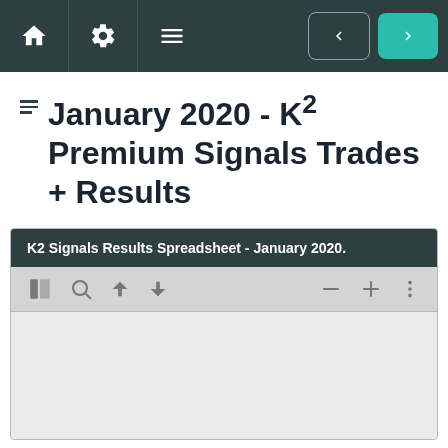Navigation bar with home, settings, menu icons and prev/next arrows
January 2020 - K² Premium Signals Trades + Results
[Figure (screenshot): Embedded spreadsheet viewer showing 'K2 Signals Results Spreadsheet - January 2020.' with toolbar icons (sidebar toggle, search, up arrow, down arrow, zoom out, zoom in, more options) and empty spreadsheet body area]